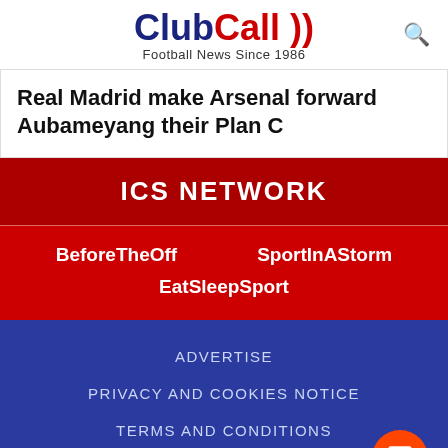ClubCall Football News Since 1986
Real Madrid make Arsenal forward Aubameyang their Plan C
ICS NETWORK
BeforeTheOff
SportInAStorm
EatSleepSport
ADVERTISE
PRIVACY AND COOKIES NOTICE
TERMS AND CONDITIONS
CONTACT FORM